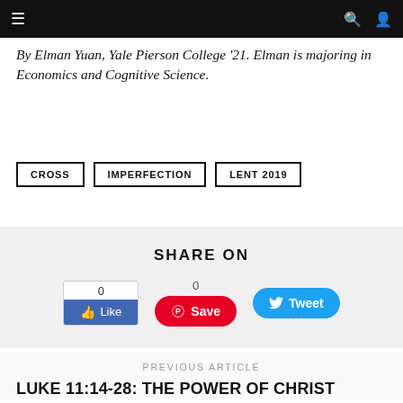Navigation bar with menu, search, and user icons
By Elman Yuan, Yale Pierson College '21. Elman is majoring in Economics and Cognitive Science.
CROSS
IMPERFECTION
LENT 2019
SHARE ON
0 Like | 0 Save | Tweet
PREVIOUS ARTICLE
LUKE 11:14-28: THE POWER OF CHRIST